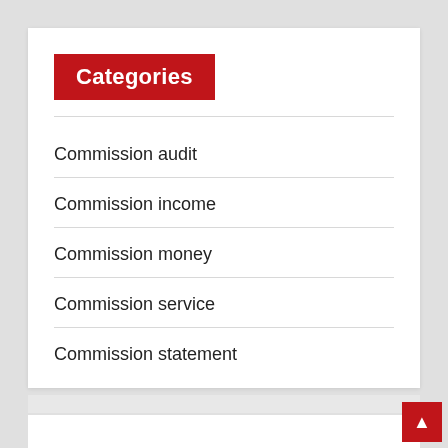Categories
Commission audit
Commission income
Commission money
Commission service
Commission statement